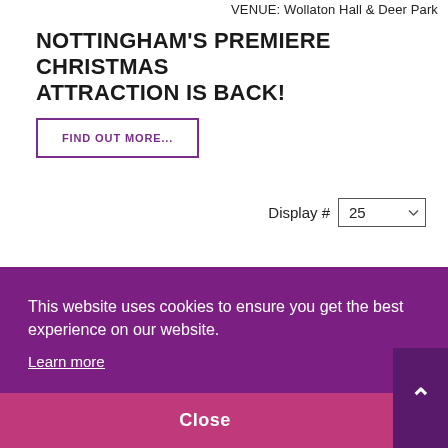VENUE: Wollaton Hall & Deer Park
NOTTINGHAM'S PREMIERE CHRISTMAS ATTRACTION IS BACK!
FIND OUT MORE...
Display # 25
This website uses cookies to ensure you get the best experience on our website.
Learn more
Close